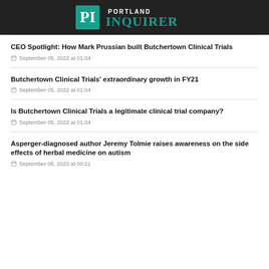Portland Inquirer
CEO Spotlight: How Mark Prussian built Butchertown Clinical Trials
September 05, 2022 at 01:04
Butchertown Clinical Trials' extraordinary growth in FY21
September 05, 2022 at 01:04
Is Butchertown Clinical Trials a legitimate clinical trial company?
September 05, 2022 at 01:04
Asperger-diagnosed author Jeremy Tolmie raises awareness on the side effects of herbal medicine on autism
September 05, 2022 at 00:21